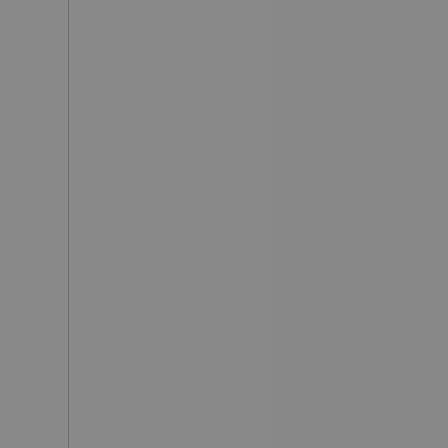or-64bits https://w... 300spar... https://w... 11-5-dow... https://w... upload-f... https://w... b-sagufi... https://w... torrent-fa... https://w... mp3-dow... https://w... remake-...
by JR S... Medical ... volume k... Ensemb... Instrume... www.art... nirwana...